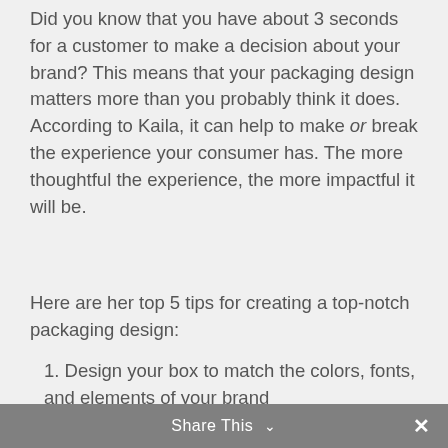Did you know that you have about 3 seconds for a customer to make a decision about your brand? This means that your packaging design matters more than you probably think it does. According to Kaila, it can help to make or break the experience your consumer has. The more thoughtful the experience, the more impactful it will be.
Here are her top 5 tips for creating a top-notch packaging design:
1. Design your box to match the colors, fonts, and elements of your brand
2. Select options that align with the values of your brand (like eco-friendly materials or premium coatings)
3. Keep it simple, seriously
Share This ∨  ✕